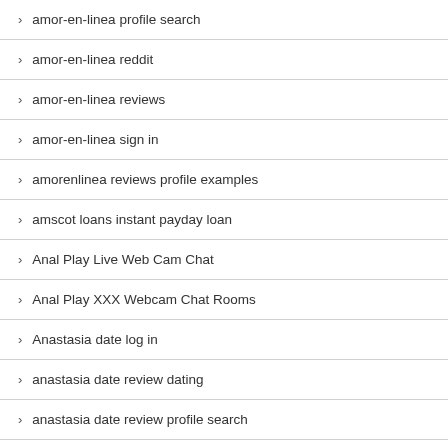amor-en-linea profile search
amor-en-linea reddit
amor-en-linea reviews
amor-en-linea sign in
amorenlinea reviews profile examples
amscot loans instant payday loan
Anal Play Live Web Cam Chat
Anal Play XXX Webcam Chat Rooms
Anastasia date log in
anastasia date review dating
anastasia date review profile search